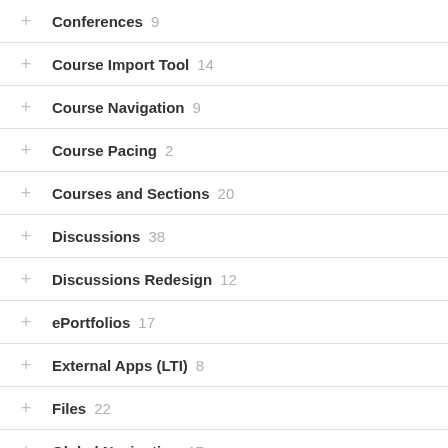Conferences 9
Course Import Tool 14
Course Navigation 9
Course Pacing 2
Courses and Sections 20
Discussions 38
Discussions Redesign 12
ePortfolios 17
External Apps (LTI) 8
Files 22
Global Navigation 17